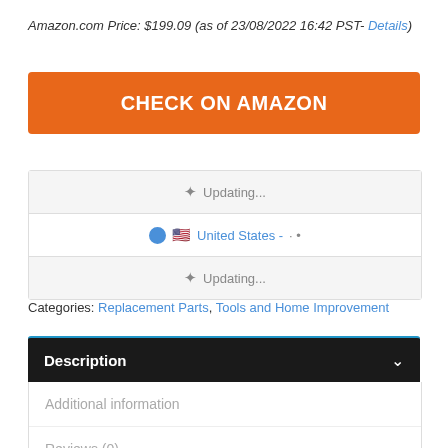Amazon.com Price: $199.09 (as of 23/08/2022 16:42 PST- Details)
[Figure (other): Orange CHECK ON AMAZON button]
[Figure (other): Shipping widget with Updating... rows and United States selection]
Categories: Replacement Parts, Tools and Home Improvement
Description
Additional information
Reviews (0)